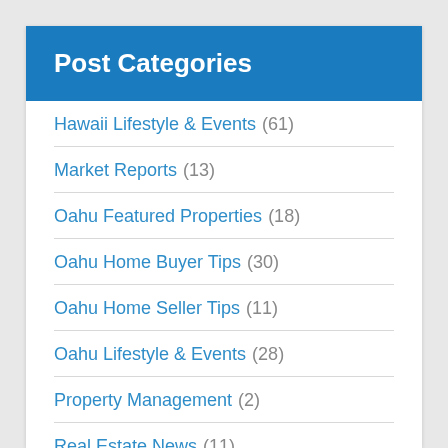Post Categories
Hawaii Lifestyle & Events (61)
Market Reports (13)
Oahu Featured Properties (18)
Oahu Home Buyer Tips (30)
Oahu Home Seller Tips (11)
Oahu Lifestyle & Events (28)
Property Management (2)
Real Estate News (11)